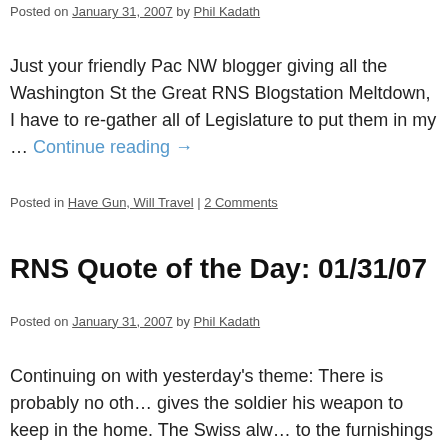Posted on January 31, 2007 by Phil Kadath
Just your friendly Pac NW blogger giving all the Washington St… the Great RNS Blogstation Meltdown, I have to re-gather all of Legislature to put them in my … Continue reading →
Posted in Have Gun, Will Travel | 2 Comments
RNS Quote of the Day: 01/31/07
Posted on January 31, 2007 by Phil Kadath
Continuing on with yesterday's theme: There is probably no oth… gives the soldier his weapon to keep in the home. The Swiss alw… to the furnishings of his home. … Continue reading →
Posted in Quote of the Day | 2 Comments
Guess what Portland residents: You're al…
Posted on January 31, 2007 by Phil Kadath